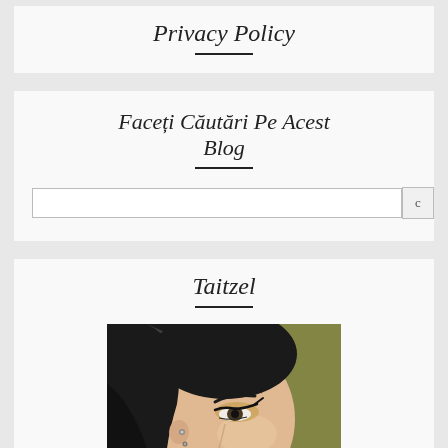Privacy Policy
Faceți Căutări Pe Acest Blog
Taitzel
[Figure (photo): Portrait of a woman with dark hair, dramatic eye makeup including cat-eye liner and gold eyeshadow, wearing small stud earrings. Background is olive/green toned. Close-up half-face composition.]